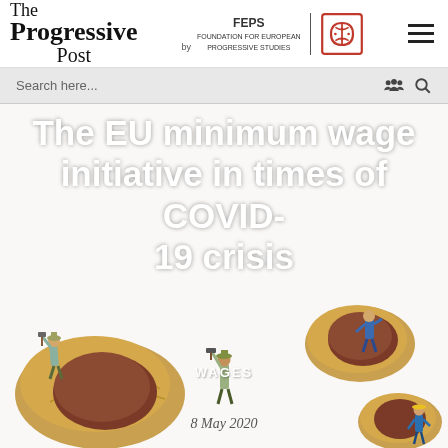The Progressive Post | FEPS Foundation for European Progressive Studies
Search here...
The EU minimum wage initiative in times of COVID-19 crisis
[Figure (photo): Miniature figurines of workers hammering open peanuts, illustrating workers cracking nuts for minimal pay — used as editorial illustration for minimum wage article.]
WAGES
8 May 2020